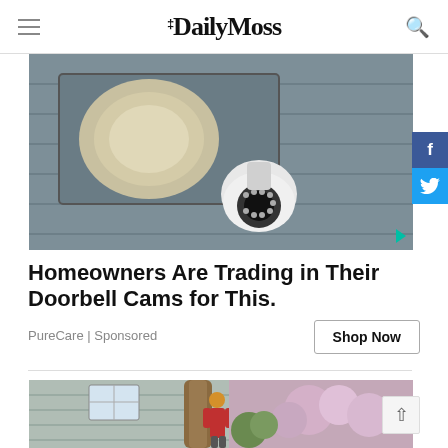The Daily Moss
[Figure (photo): Security camera mounted on exterior wall near a floodlight, close-up outdoor shot]
Homeowners Are Trading in Their Doorbell Cams for This.
PureCare | Sponsored
Shop Now
[Figure (photo): Person wearing a hard hat and red flannel shirt looking up at a large tree leaning against a house, outdoor setting with flowering shrubs]